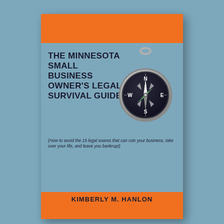[Figure (illustration): Book cover for 'The Minnesota Small Business Owner's Legal Survival Guide' by Kimberly M. Hanlon. The cover features an orange top band, a light blue middle section with the book title in bold uppercase text on the left and a compass image on the right, followed by a subtitle in italic text, and an orange bottom band with the author's name.]